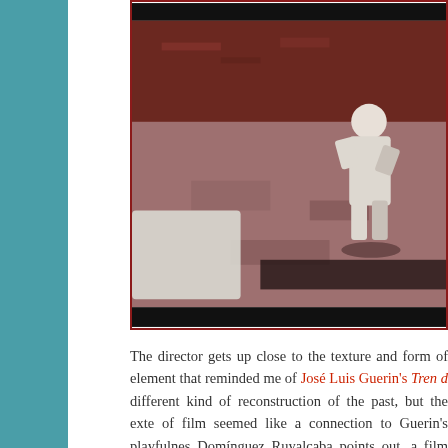[Figure (photo): A film still showing a person in white clothing, possibly a child, on a rough textured ground. The image has a reddish-brown tint with high contrast, black and white borders at top and bottom, suggesting it is from an old or archival film. The scene is partially obscured by a pale rectangular shape in the lower left.]
The director gets up close to the texture and form of element that reminded me of José Luis Guerin's Tren d different kind of reconstruction of the past, but the exte of film seemed like a connection to Guerin's playfulnes Domínguez Ruyalcaba points out, a film cannot chan